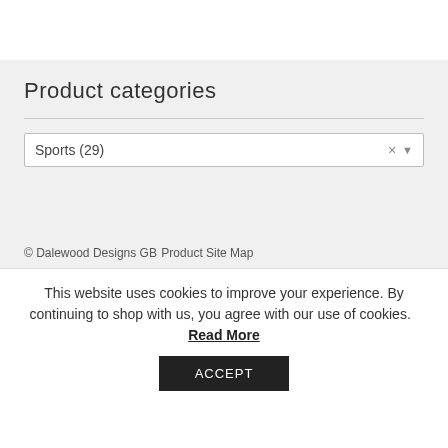Product categories
Sports  (29)
© Dalewood Designs GB
Product Site Map
This website uses cookies to improve your experience. By continuing to shop with us, you agree with our use of cookies. Read More
ACCEPT